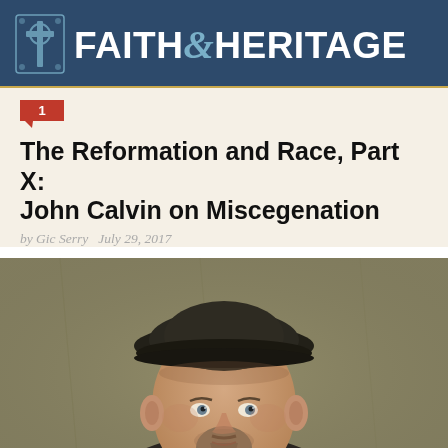FAITH & HERITAGE
1
The Reformation and Race, Part X: John Calvin on Miscegenation
by Gic Serry   July 29, 2017
[Figure (photo): Portrait illustration of John Calvin wearing a dark beret-style hat, facing slightly to the right, painted in a historical style with muted olive-brown background.]